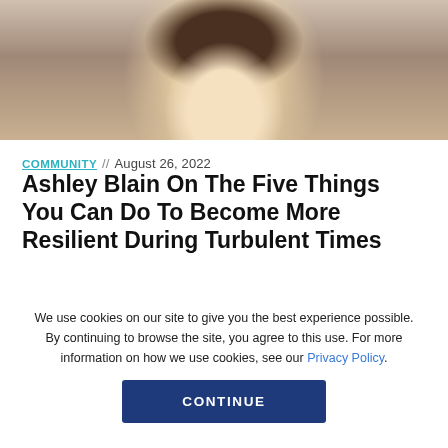[Figure (photo): Cropped photo of a person (Ashley Blain), showing face and upper body, blurred/close-up]
COMMUNITY // August 26, 2022
Ashley Blain On The Five Things You Can Do To Become More Resilient During Turbulent Times
We use cookies on our site to give you the best experience possible. By continuing to browse the site, you agree to this use. For more information on how we use cookies, see our Privacy Policy.
CONTINUE